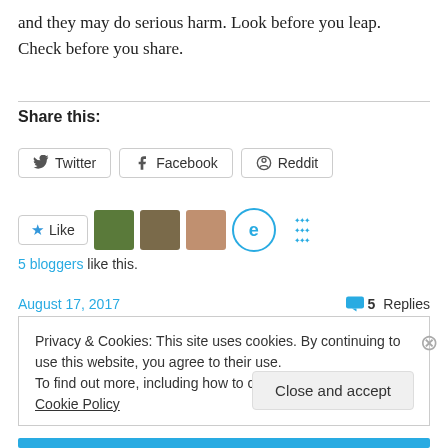and they may do serious harm. Look before you leap. Check before you share.
Share this:
[Figure (screenshot): Social sharing buttons: Twitter, Facebook, Reddit]
[Figure (screenshot): Like button and 5 blogger avatars including tree photo, person photo, face photo, e-logo, and dots logo]
5 bloggers like this.
August 17, 2017    5 Replies
Privacy & Cookies: This site uses cookies. By continuing to use this website, you agree to their use.
To find out more, including how to control cookies, see here: Cookie Policy
Close and accept